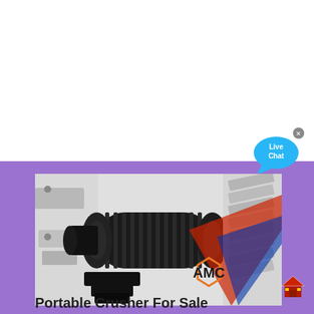[Figure (photo): Close-up photo of industrial crusher machinery showing a large black cylindrical roller/drum component mounted on a white machine frame. A red and blue AMC logo watermark is visible in the lower right of the image.]
Portable Crusher For Sale